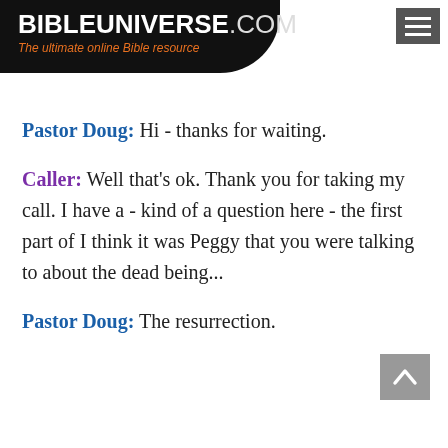BIBLEUNIVERSE.COM — The ultimate online Bible resource
Pastor Doug: Hi - thanks for waiting.
Caller: Well that's ok. Thank you for taking my call. I have a - kind of a question here - the first part of I think it was Peggy that you were talking to about the dead being...
Pastor Doug: The resurrection.